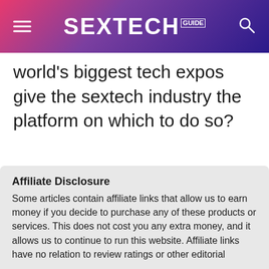SEXTECH GUIDE
world's biggest tech expos give the sextech industry the platform on which to do so?
Read Next: Hostile platforms: Is Big Tech turning its back on adult indie creators?
Affiliate Disclosure
Some articles contain affiliate links that allow us to earn money if you decide to purchase any of these products or services. This does not cost you any extra money, and it allows us to continue to run this website. Affiliate links have no relation to review ratings or other editorial